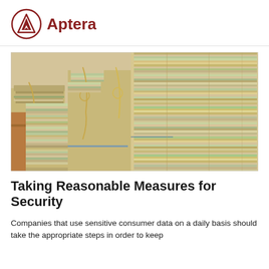Aptera
[Figure (photo): Stacks of paper files and documents bundled with string, arranged in rows, representing physical document archives.]
Taking Reasonable Measures for Security
Companies that use sensitive consumer data on a daily basis should take the appropriate steps in order to keep